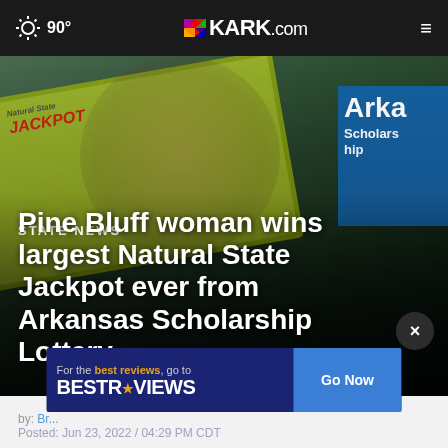90° KARK.com
[Figure (photo): A smiling person holding a large green-bordered lottery check showing 'Natural State JACKPOT' with an Arkansas Scholarship Lottery banner in background]
STATE NEWS
Pine Bluff woman wins largest Natural State Jackpot ever from Arkansas Scholarship Lottery
by: Br...
Posted: Jun 23, 2022 / 04:29 PM CDT